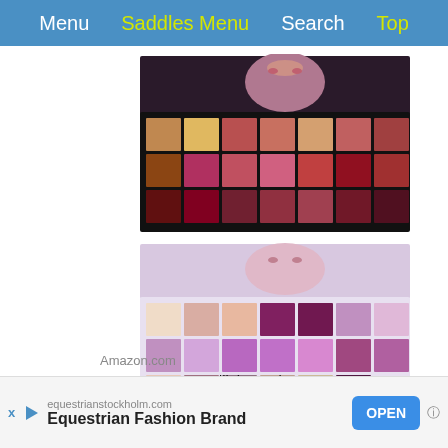Menu  Saddles Menu  Search  Top
[Figure (photo): Two eyeshadow palettes (makeup product). Top palette is dark/jewel-toned with warm reds, browns, and golds. Bottom palette is lighter lavender/pink toned with shimmer shades. Both are open showing grid of color pans.]
Amazon.com
2Pcs UCANBE Twilight Dusk + Aromas Nude Eyeshadow Palette Makeup Set, Matte...
$19.99
Close X
[Figure (infographic): Ad banner: equestrianstockholm.com — Equestrian Fashion Brand — OPEN button]
equestrianstockholm.com
Equestrian Fashion Brand
OPEN